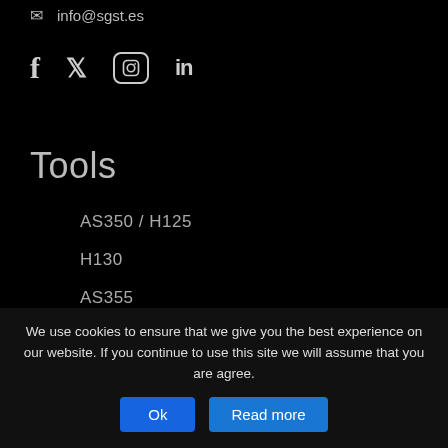info@sgst.es
[Figure (other): Social media icons: Facebook (f), Twitter (bird), Instagram (circle camera), LinkedIn (in)]
Tools
AS350 / H125
H130
AS355
H135
ARRIEL 2 / 2B1
ARRIEL 2D
ARRIEL 1
We use cookies to ensure that we give you the best experience on our website. If you continue to use this site we will assume that you are agree.